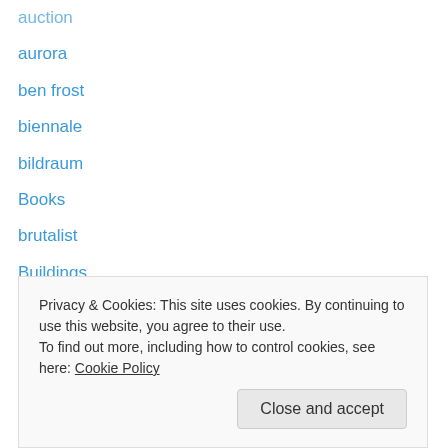auction
aurora
ben frost
biennale
bildraum
Books
brutalist
Buildings
carsten holler
catch 22
collage
composers
composition
conceptual
dickie webb
Privacy & Cookies: This site uses cookies. By continuing to use this website, you agree to their use.
To find out more, including how to control cookies, see here: Cookie Policy